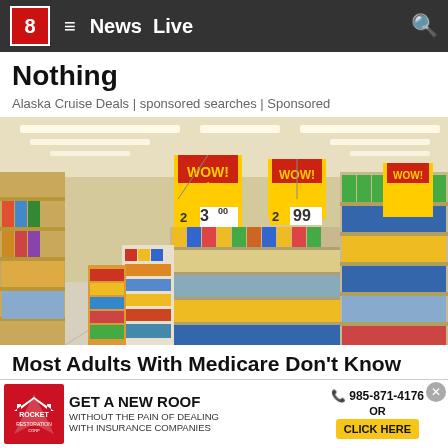8 ≡ News Live 🔍
Nothing
Alaska Cruise Deals | sponsored searches | Sponsored
[Figure (photo): Interior of a grocery store aisle with shelves stocked with products. Hanging red and yellow 'WOW! Savings' signs display prices $2.300 and $2.99. Bright fluorescent lighting on ceiling.]
Most Adults With Medicare Don't Know This (Check...
[Figure (infographic): Advertisement banner: Rocket Roofing company ad. 'GET A NEW ROOF WITHOUT THE PAIN OF DEALING WITH INSURANCE COMPANIES'. Phone number 985-871-4176. Yellow 'CLICK HERE' button.]